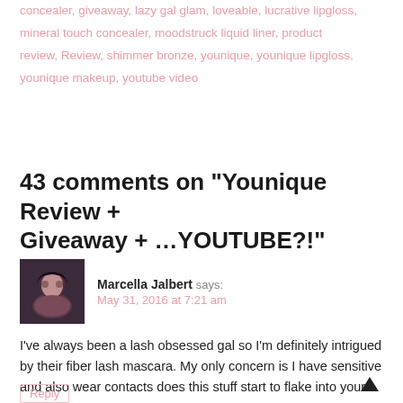concealer, giveaway, lazy gal glam, loveable, lucrative lipgloss, mineral touch concealer, moodstruck liquid liner, product review, Review, shimmer bronze, younique, younique lipgloss, younique makeup, youtube video
43 comments on “Younique Review + Giveaway + …YOUTUBE?!”
Marcella Jalbert says: May 31, 2016 at 7:21 am
I’ve always been a lash obsessed gal so I’m definitely intrigued by their fiber lash mascara. My only concern is I have sensitive and also wear contacts does this stuff start to flake into your eyes after a while?